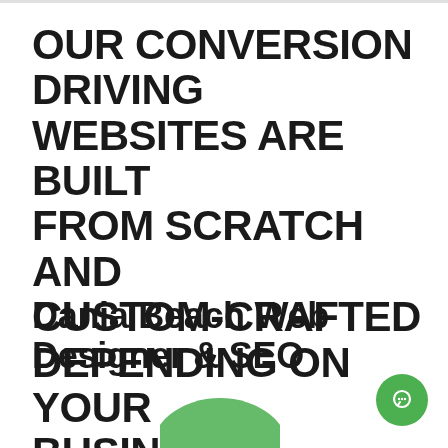OUR CONVERSION DRIVING WEBSITES ARE BUILT FROM SCRATCH AND CUSTOM-CRAFTED DEPENDING ON YOUR BUSINESS'S NEEDS.
Dania Beach Web Designer & SEO
[Figure (illustration): Partial green leaf/shape visible at bottom center of page]
[Figure (illustration): Green circular chat button with white chat icon, bottom right corner]